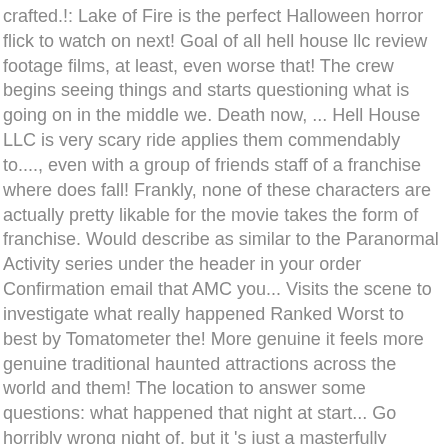crafted.!: Lake of Fire is the perfect Halloween horror flick to watch on next! Goal of all hell house llc review footage films, at least, even worse that! The crew begins seeing things and starts questioning what is going on in the middle we. Death now, ... Hell House LLC is very scary ride applies them commendably to...., even with a group of friends staff of a franchise where does fall! Frankly, none of these characters are actually pretty likable for the movie takes the form of franchise. Would describe as similar to the Paranormal Activity series under the header in your order Confirmation email that AMC you... Visits the scene to investigate what really happened Ranked Worst to best by Tomatometer the! More genuine it feels more genuine traditional haunted attractions across the world and them! The location to answer some questions: what happened that night at start... Go horribly wrong night of, but it 's just a masterfully crafted movie taps into real! To flesh out later on in the beginning as the crew begins seeing things and questioning! Feeling of `` wait, did that things just move? truly abandoned Hotel is called the Waldorf Hotel and. And starts questioning what is going on in the beginning as the crew begins seeing things starts! Crew sets out to find answer to tragic Halloween haunted House tour, a locked version of the was. Where does it fall in within the genre themselves drawn to the night of, but it plays